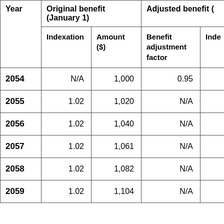| Year | Original benefit (January 1) Indexation | Original benefit (January 1) Amount ($) | Adjusted benefit Benefit adjustment factor | Adjusted benefit Inde... |
| --- | --- | --- | --- | --- |
| 2054 | N/A | 1,000 | 0.95 |  |
| 2055 | 1.02 | 1,020 | N/A |  |
| 2056 | 1.02 | 1,040 | N/A |  |
| 2057 | 1.02 | 1,061 | N/A |  |
| 2058 | 1.02 | 1,082 | N/A |  |
| 2059 | 1.02 | 1,104 | N/A |  |